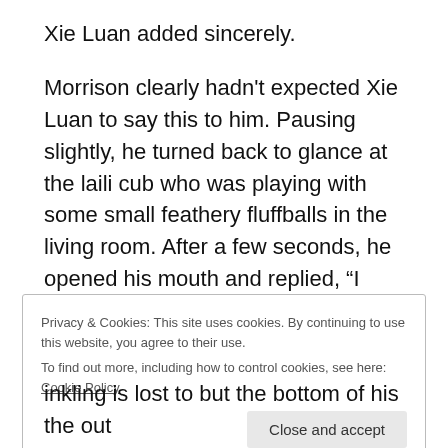Xie Luan added sincerely.
Morrison clearly hadn't expected Xie Luan to say this to him. Pausing slightly, he turned back to glance at the laili cub who was playing with some small feathery fluffballs in the living room. After a few seconds, he opened his mouth and replied, “I have no intention of adopting a cub.”
The implication was a rejection of Xie Luan’s
Privacy & Cookies: This site uses cookies. By continuing to use this website, you agree to their use.
To find out more, including how to control cookies, see here: Cookie Policy
Close and accept
inkling is lost to but the bottom of his the out